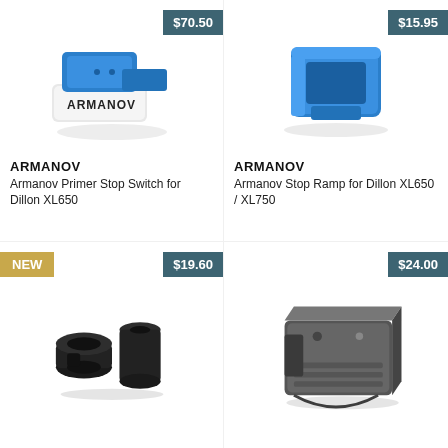[Figure (photo): Armanov Primer Stop Switch for Dillon XL650 - blue and white device with ARMANOV branding, price $70.50]
ARMANOV
Armanov Primer Stop Switch for Dillon XL650
[Figure (photo): Armanov Stop Ramp for Dillon XL650 / XL750 - blue plastic ramp accessory, price $15.95]
ARMANOV
Armanov Stop Ramp for Dillon XL650 / XL750
[Figure (photo): NEW product - black adapter rings, price $19.60]
[Figure (photo): Gray metal block accessory, price $24.00]